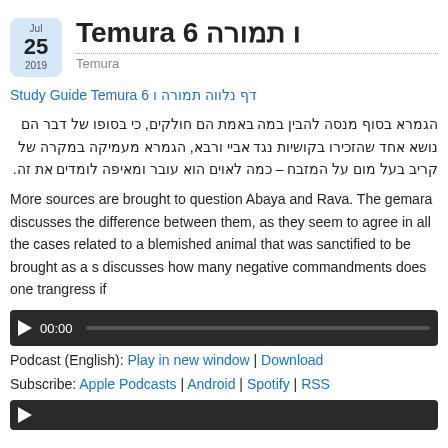Temura 6 ו תמורה
Temura
Study Guide Temura 6 דף נלווה תמורה ו
הגמרא בסוף מנסה להבין במה באמת הם חולקים, כי בסופו של דבר הם נושא אחד שהזכירו בקושיות נגד אביי ורבא, הגמרא מעמיקה במקרה של קריב בעל מום על המזבח – כמה לאוים הוא עובר ומאיפה לומדים את זה.
More sources are brought to question Abaya and Rava. The gemara discusses the difference between them, as they seem to agree in all the cases raised. One case related to a blemished animal that was sanctified to be brought as a sacrifice. The gemara discusses how many negative commandments does one trangress if
[Figure (other): Audio player with play button, 00:00 timestamp and progress bar on dark background]
Podcast (English): Play in new window | Download
Subscribe: Apple Podcasts | Android | Spotify | RSS
[Figure (other): Second audio player bar, partially visible at bottom]